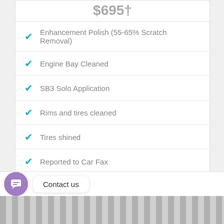$695†
Enhancement Polish (55-65% Scratch Removal)
Engine Bay Cleaned
SB3 Solo Application
Rims and tires cleaned
Tires shined
Reported to Car Fax
BOOK NOW
Contact us
[Figure (photo): Bottom image strip showing a car or automotive surface]